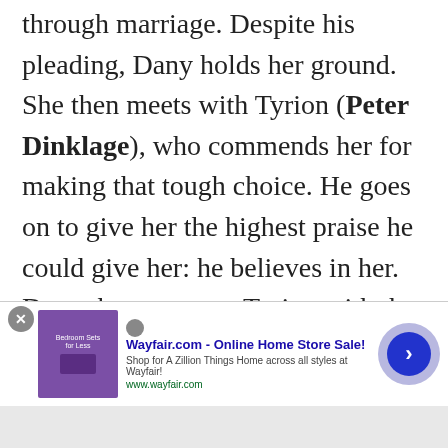through marriage. Despite his pleading, Dany holds her ground. She then meets with Tyrion (Peter Dinklage), who commends her for making that tough choice. He goes on to give her the highest praise he could give her: he believes in her. Dany then presents Tyrion with the honor of being her Hand of the Queen and the corresponding pin.
North of the Wall...
[Figure (other): Wayfair.com advertisement banner with purple bedroom sets image, text 'Wayfair.com - Online Home Store Sale! Shop for A Zillion Things Home across all styles at Wayfair! www.wayfair.com', close button, and forward arrow circle button.]